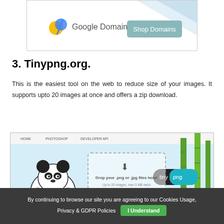[Figure (screenshot): Google Domains advertisement banner with logo and 'Shop Domains' button]
3. Tinypng.org.
This is the easiest tool on the web to reduce size of your images. It supports upto 20 images at once and offers a zip download.
[Figure (screenshot): Screenshot of Tinypng.org website showing panda mascot, bamboo, and drag-and-drop upload area with text 'Drop your .png or .jpg files here! Up to 20 images, max 5 MB each']
By continuing to browse our site you are agreeing to our Cookies Usage, Privacy & GDPR Policies  I Understand